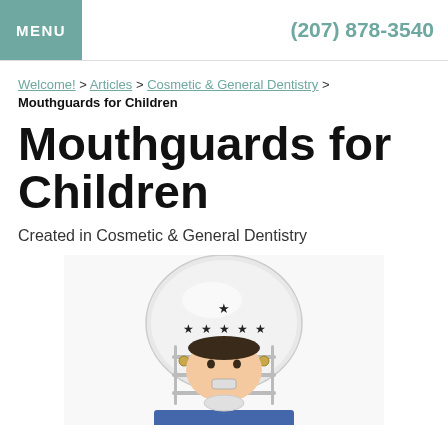MENU   (207) 878-3540
Welcome! > Articles > Cosmetic & General Dentistry > Mouthguards for Children
Mouthguards for Children
Created in Cosmetic & General Dentistry
[Figure (photo): Child wearing a white football helmet with star decorations and a face guard, mouth slightly open showing a mouthguard, wearing a blue jersey]